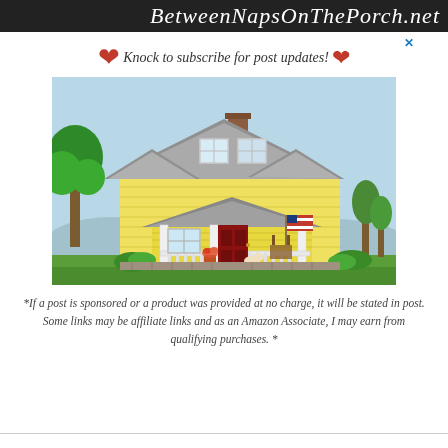BetweenNapsOnThePorch.net
Knock to subscribe for post updates!
[Figure (illustration): Illustrated yellow craftsman-style house with red front door, white porch columns, American flag, rocking chair, green trees, blue sky background]
*If a post is sponsored or a product was provided at no charge, it will be stated in post. Some links may be affiliate links and as an Amazon Associate, I may earn from qualifying purchases. *